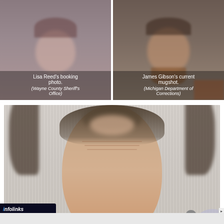[Figure (photo): Lisa Reed's booking photo with caption overlay. (Wayne County Sheriff's Office)]
[Figure (photo): James Gibson's current mugshot with caption overlay. (Michigan Department of Corrections)]
[Figure (photo): Large blurred mugshot of a person showing the top of their head/forehead region, taken in front of a textured wall backdrop.]
infolinks
Belk.com - Belk® - Official Site
Shop for clothing, handbags, jewelry, beauty, home & more!
www.belk.com